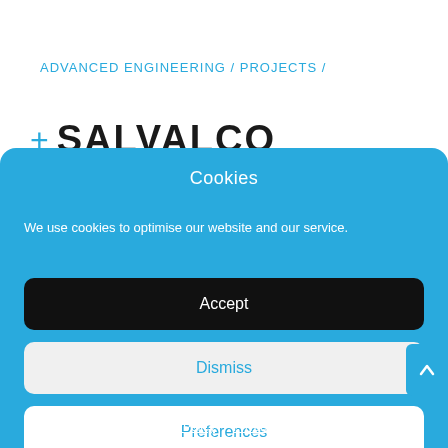ADVANCED ENGINEERING / PROJECTS /
SALVALCO
Cookies
We use cookies to optimise our website and our service.
Accept
Dismiss
Preferences
Privacy Policy   Privacy Policy